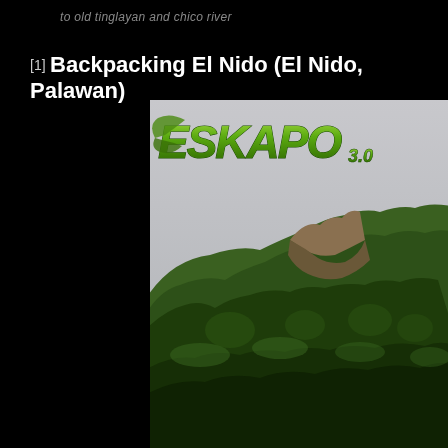to old tinglayan and chico river
[1] Backpacking El Nido (El Nido, Palawan)
[Figure (photo): Photo of lush green forested limestone karst mountains under an overcast grey sky, with the ESKAPO 3.0 logo overlaid in green italic text at the top of the image.]